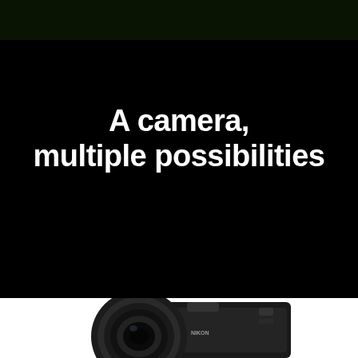[Figure (photo): Aerial view of green crop field with converging rows and brown dirt paths, viewed from above at a diagonal angle.]
A camera, multiple possibilities
[Figure (photo): Close-up of a black Nikon camera body with lens, partially visible at the bottom of the page against a white background.]